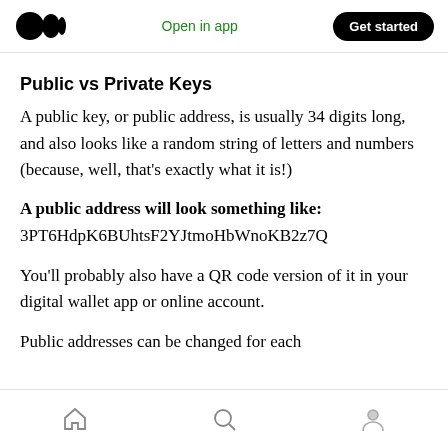Medium logo | Open in app | Get started
Public vs Private Keys
A public key, or public address, is usually 34 digits long, and also looks like a random string of letters and numbers (because, well, that’s exactly what it is!)
A public address will look something like:
3PT6HdpK6BUhtsF2YJtmoHbWnoKB2z7Q
You’ll probably also have a QR code version of it in your digital wallet app or online account.
Public addresses can be changed for each
Home | Search | Profile